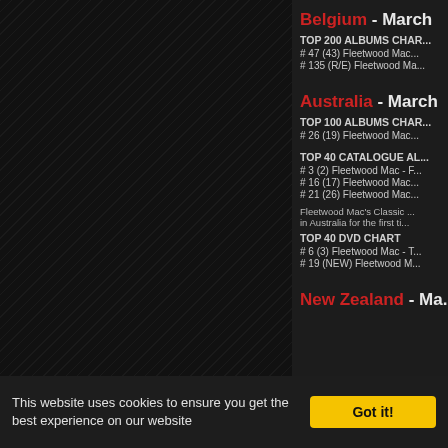[Figure (other): Dark diagonal hatched background panel on left side of page]
Belgium - March
TOP 200 ALBUMS CHAR...
# 47 (43) Fleetwood Mac...
# 135 (R/E) Fleetwood Ma...
Australia - March
TOP 100 ALBUMS CHAR...
# 26 (19) Fleetwood Mac...
TOP 40 CATALOGUE AL...
# 3 (2) Fleetwood Mac - F...
# 16 (17) Fleetwood Mac...
# 21 (26) Fleetwood Mac...
Fleetwood Mac's Classic ... in Australia for the first ti...
TOP 40 DVD CHART
# 6 (3) Fleetwood Mac - T...
# 19 (NEW) Fleetwood M...
New Zealand - Ma...
Got it!